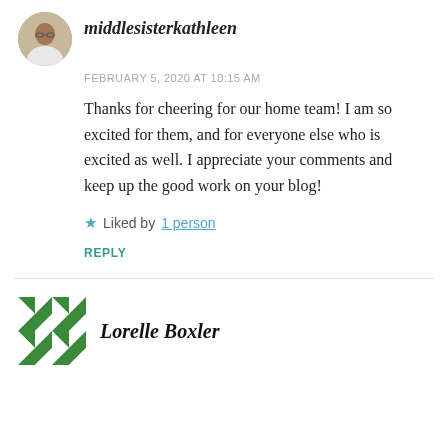middlesisterkathleen
FEBRUARY 5, 2020 AT 10:15 AM
Thanks for cheering for our home team! I am so excited for them, and for everyone else who is excited as well. I appreciate your comments and keep up the good work on your blog!
Liked by 1 person
REPLY
Lorelle Boxler